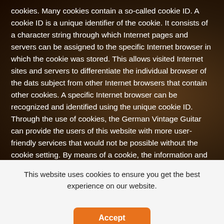cookies. Many cookies contain a so-called cookie ID. A cookie ID is a unique identifier of the cookie. It consists of a character string through which Internet pages and servers can be assigned to the specific Internet browser in which the cookie was stored. This allows visited Internet sites and servers to differentiate the individual browser of the dats subject from other Internet browsers that contain other cookies. A specific Internet browser can be recognized and identified using the unique cookie ID. Through the use of cookies, the German Vintage Guitar can provide the users of this website with more user-friendly services that would not be possible without the cookie setting. By means of a cookie, the information and offers on our website can be optimized with the user in mind. Cookies
This website uses cookies to ensure you get the best experience on our website.